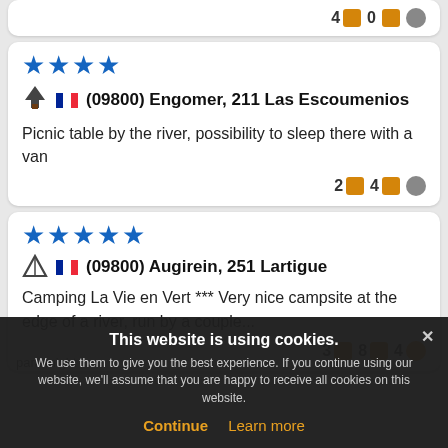4 [icon] 0 [icon] [icon]
★★★★ (09800) Engomer, 211 Las Escoumenios
Picnic table by the river, possibility to sleep there with a van
2 [icon] 4 [icon] [icon]
★★★★★ (09800) Augirein, 251 Lartigue
Camping La Vie en Vert *** Very nice campsite at the edge of a river, run by a couple...
3 [icon] 8 [icon] 4 [icon]
This website is using cookies. We use them to give you the best experience. If you continue using our website, we'll assume that you are happy to receive all cookies on this website.
Continue   Learn more